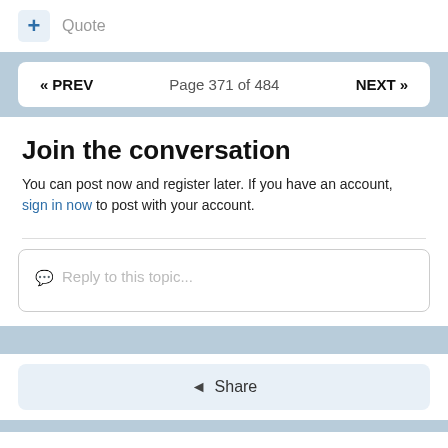+ Quote
« PREV   Page 371 of 484   NEXT »
Join the conversation
You can post now and register later. If you have an account, sign in now to post with your account.
Reply to this topic...
Share